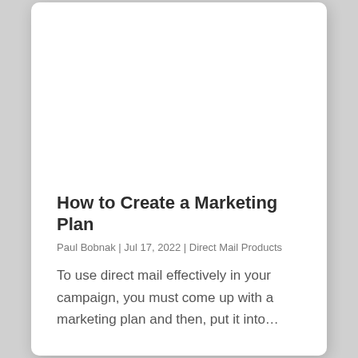How to Create a Marketing Plan
Paul Bobnak  |  Jul 17, 2022  |  Direct Mail Products
To use direct mail effectively in your campaign, you must come up with a marketing plan and then, put it into…